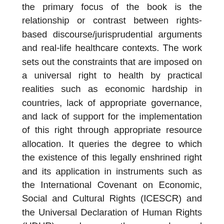the primary focus of the book is the relationship or contrast between rights-based discourse/jurisprudential arguments and real-life healthcare contexts. The work sets out the constraints that are imposed on a universal right to health by practical realities such as economic hardship in countries, lack of appropriate governance, and lack of support for the implementation of this right through appropriate resource allocation. It queries the degree to which the existence of this legally enshrined right and its application in instruments such as the International Covenant on Economic, Social and Cultural Rights (ICESCR) and the Universal Declaration of Human Rights (UDHR) can be more than an ephemeral aspiration but can, actually, sustain, promote, and instil good practice. It further asks if social reality and the inequalities that